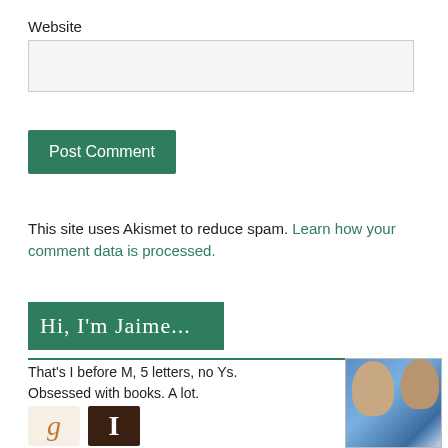Website
[Figure (screenshot): Website text input field (empty, light gray background)]
[Figure (screenshot): Post Comment button (green/teal background, white text)]
This site uses Akismet to reduce spam. Learn how your comment data is processed.
Hi, I'm Jaime...
That's I before M, 5 letters, no Ys. Obsessed with books. A lot.
[Figure (photo): Family photo: two adults and a child wearing sunglasses, blue background]
[Figure (logo): Goodreads logo icon - letter g on tan/beige background]
[Figure (logo): LibraryThing logo icon - letter L on dark brown background]